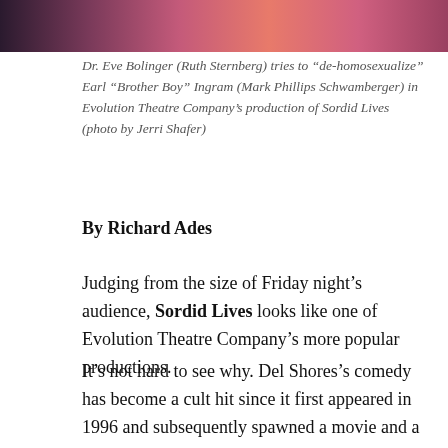[Figure (photo): Cropped top portion of a theatrical production photo showing performers in colorful costumes]
Dr. Eve Bolinger (Ruth Sternberg) tries to “de-homosexualize” Earl “Brother Boy” Ingram (Mark Phillips Schwamberger) in Evolution Theatre Company’s production of Sordid Lives (photo by Jerri Shafer)
By Richard Ades
Judging from the size of Friday night’s audience, Sordid Lives looks like one of Evolution Theatre Company’s more popular productions.
It’s not hard to see why. Del Shores’s comedy has become a cult hit since it first appeared in 1996 and subsequently spawned a movie and a short-lived TV series. It may not be a great work of art, but it’s a fun piece of theater